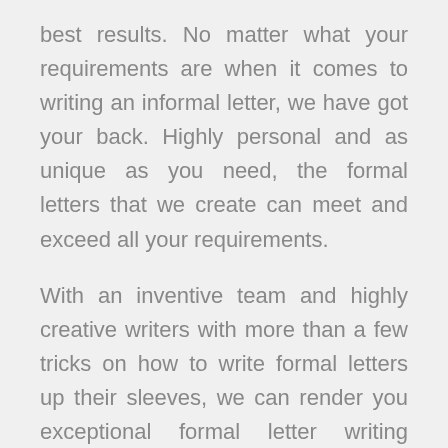best results. No matter what your requirements are when it comes to writing an informal letter, we have got your back. Highly personal and as unique as you need, the formal letters that we create can meet and exceed all your requirements.
With an inventive team and highly creative writers with more than a few tricks on how to write formal letters up their sleeves, we can render you exceptional formal letter writing services as you need. Highly satisfied and returning clients that we have are the best testimonial we have for our